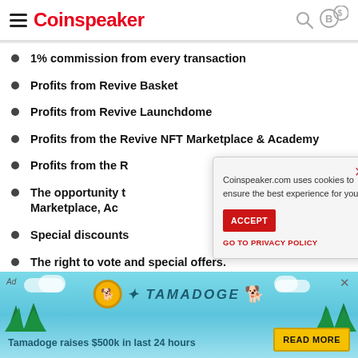Coinspeaker
1% commission from every transaction
Profits from Revive Basket
Profits from Revive Launchdome
Profits from the Revive NFT Marketplace & Academy
Profits from the [obscured by modal]
The opportunity [obscured by modal] Marketplace, Ac[ademy]
Special discounts[obscured by modal]
The right to vote and special offers.
Coinspeaker.com uses cookies to ensure the best experience for you
ACCEPT
GO TO PRIVACY POLICY
Tamadoge raises $500k in last 24 hours
READ MORE